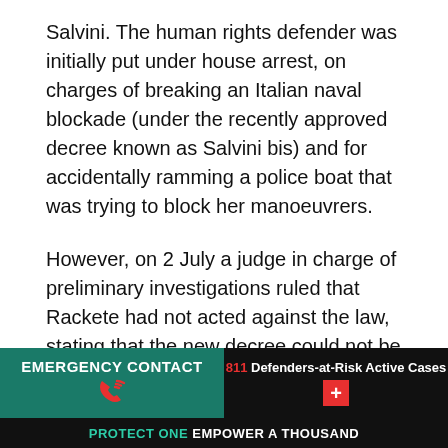Salvini. The human rights defender was initially put under house arrest, on charges of breaking an Italian naval blockade (under the recently approved decree known as Salvini bis) and for accidentally ramming a police boat that was trying to block her manoeuvrers.
However, on 2 July a judge in charge of preliminary investigations ruled that Rackete had not acted against the law, stating that the new decree could not be applied to humanitarian rescue operations. The decree introduced new measures against migrant rights defenders, including fines of up to €50,000 and the confiscation of vessels.
In her decision, the judge also declared that Rackete was
[Figure (infographic): Footer with two panels: left green panel with EMERGENCY CONTACT text and red phone icon; right black panel with '811 Defenders-at-Risk Active Cases' and red plus icon. Bottom black bar with tagline 'PROTECT ONE EMPOWER A THOUSAND'.]